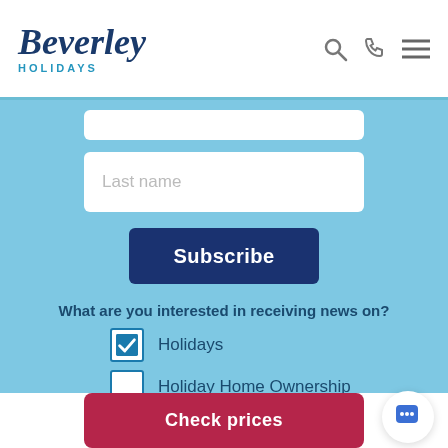[Figure (logo): Beverley Holidays logo with script font and HOLIDAYS subtitle in blue]
Last name
Subscribe
What are you interested in receiving news on?
Holidays (checked)
Holiday Home Ownership
Day Visitors
Check prices